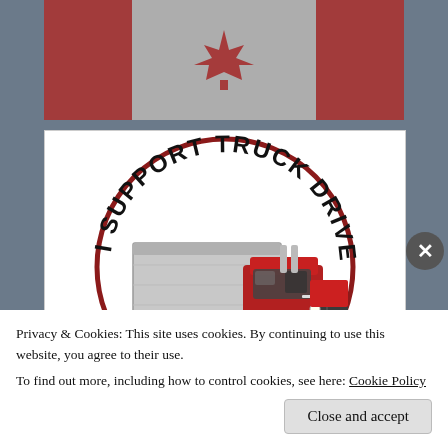[Figure (photo): Vintage-style Canadian flag image (grunge/distressed texture) shown at top of page]
[Figure (illustration): Circular logo with text 'I SUPPORT TRUCK DRIVERS' arcing around the top, with a red semi-truck and gray trailer in the center on a white background with dark red border circle]
Privacy & Cookies: This site uses cookies. By continuing to use this website, you agree to their use.
To find out more, including how to control cookies, see here: Cookie Policy
Close and accept